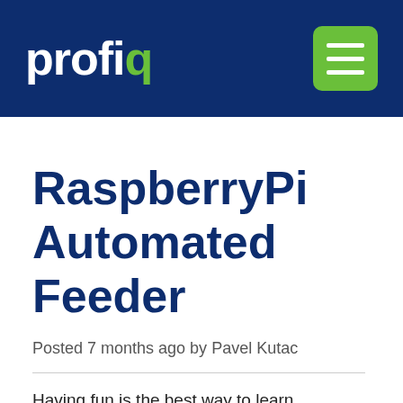profiq
RaspberryPi Automated Feeder
Posted 7 months ago by Pavel Kutac
Having fun is the best way to learn. Albert Einstein It all started two